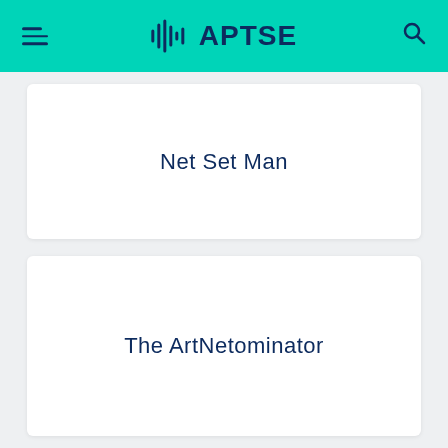APTSE
Net Set Man
The ArtNetominator